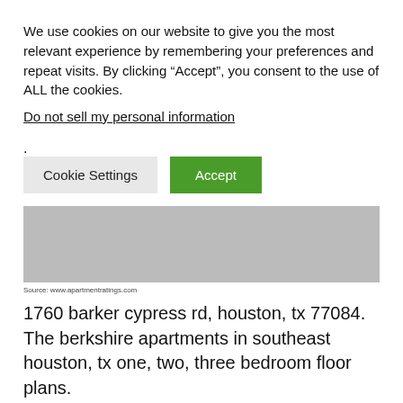We use cookies on our website to give you the most relevant experience by remembering your preferences and repeat visits. By clicking “Accept”, you consent to the use of ALL the cookies.
Do not sell my personal information.
Cookie Settings
Accept
[Figure (photo): Gray placeholder image area]
Source: www.apartmentratings.com
1760 barker cypress rd, houston, tx 77084. The berkshire apartments in southeast houston, tx one, two, three bedroom floor plans.
[Figure (photo): Gray placeholder image area (partial, bottom of page)]